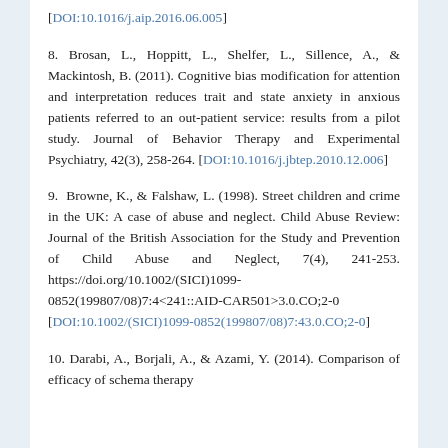[DOI:10.1016/j.aip.2016.06.005]
8. Brosan, L., Hoppitt, L., Shelfer, L., Sillence, A., & Mackintosh, B. (2011). Cognitive bias modification for attention and interpretation reduces trait and state anxiety in anxious patients referred to an out-patient service: results from a pilot study. Journal of Behavior Therapy and Experimental Psychiatry, 42(3), 258-264. [DOI:10.1016/j.jbtep.2010.12.006]
9. Browne, K., & Falshaw, L. (1998). Street children and crime in the UK: A case of abuse and neglect. Child Abuse Review: Journal of the British Association for the Study and Prevention of Child Abuse and Neglect, 7(4), 241-253. https://doi.org/10.1002/(SICI)1099-0852(199807/08)7:4<241::AID-CAR501>3.0.CO;2-0 [DOI:10.1002/(SICI)1099-0852(199807/08)7:43.0.CO;2-0]
10. Darabi, A., Borjali, A., & Azami, Y. (2014). Comparison of efficacy of schema therapy